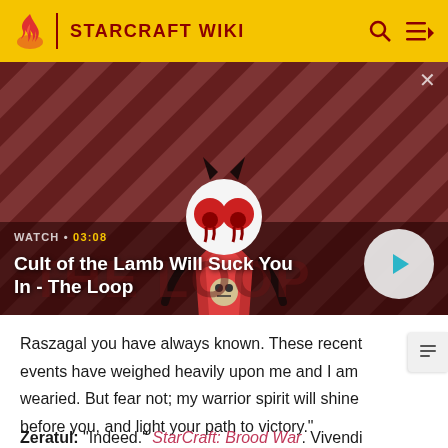STARCRAFT WIKI
[Figure (screenshot): Video thumbnail for 'Cult of the Lamb Will Suck You In - The Loop' showing an animated lamb character with devil horns and glowing red eyes, on a red diagonal striped background. Watch time shown as 03:08 with a play button.]
WATCH • 03:08
Cult of the Lamb Will Suck You In - The Loop
Raszagal you have always known. These recent events have weighed heavily upon me and I am wearied. But fear not; my warrior spirit will shine before you, and light your path to victory."
Zeratul: "Indeed." StarCraft: Brood War. Vivendi